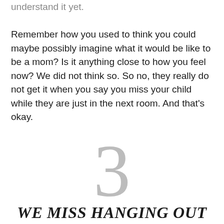understand it yet.

Remember how you used to think you could maybe possibly imagine what it would be like to be a mom? Is it anything close to how you feel now? We did not think so. So no, they really do not get it when you say you miss your child while they are just in the next room. And that’s okay.
[Figure (other): Large decorative chapter number '3' in light gray serif font]
WE MISS HANGING OUT